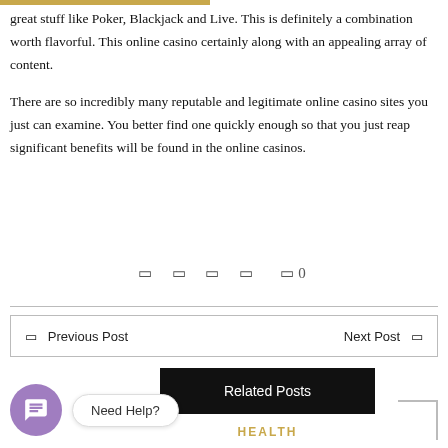great stuff like Poker, Blackjack and Live. This is definitely a combination worth flavorful. This online casino certainly along with an appealing array of content.
There are so incredibly many reputable and legitimate online casino sites you just can examine. You better find one quickly enough so that you just reap significant benefits will be found in the online casinos.
◻ ◻ ◻ ◻  ◻0
← Previous Post   Next Post →
Related Posts
HEALTH
Need Help?